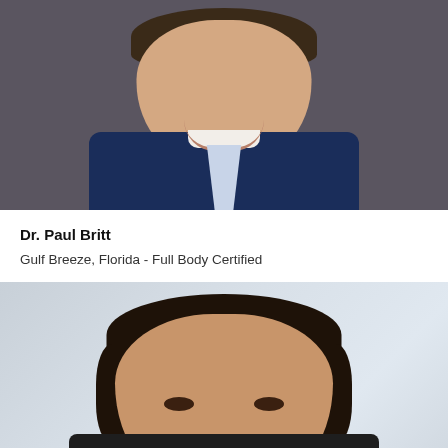[Figure (photo): Headshot photo of Dr. Paul Britt, a man in a dark blue suit smiling, photographed against a dark background.]
Dr. Paul Britt
Gulf Breeze, Florida - Full Body Certified
[Figure (photo): Headshot photo of a man with curly dark brown hair and a warm smile, wearing a dark jacket, photographed against a light gray/blue background.]